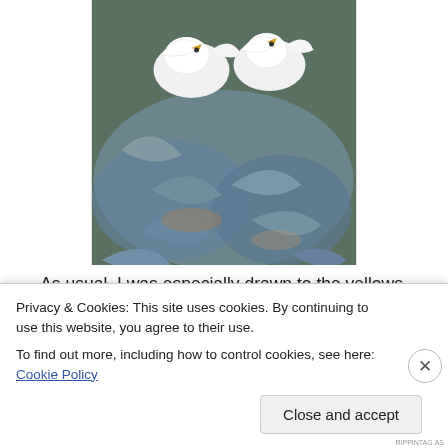[Figure (photo): Two white birds (likely seagulls or doves) photographed from above, with foliage/plant material visible below them in blue-green tones]
As usual, I was especially drawn to the yellows,
[Figure (photo): Partial strip of a second photo showing yellow/golden tones]
Privacy & Cookies: This site uses cookies. By continuing to use this website, you agree to their use.
To find out more, including how to control cookies, see here: Cookie Policy
Close and accept